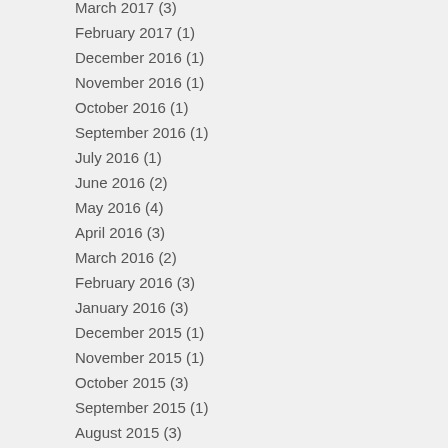March 2017 (3)
February 2017 (1)
December 2016 (1)
November 2016 (1)
October 2016 (1)
September 2016 (1)
July 2016 (1)
June 2016 (2)
May 2016 (4)
April 2016 (3)
March 2016 (2)
February 2016 (3)
January 2016 (3)
December 2015 (1)
November 2015 (1)
October 2015 (3)
September 2015 (1)
August 2015 (3)